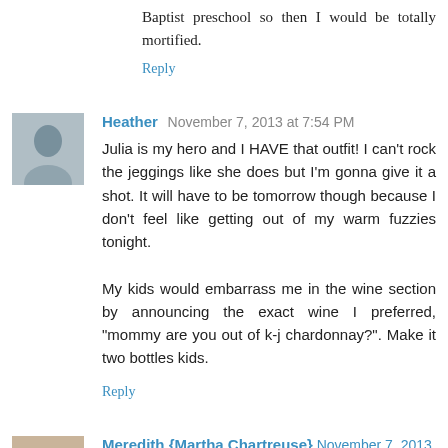Baptist preschool so then I would be totally mortified.
Reply
Heather  November 7, 2013 at 7:54 PM
Julia is my hero and I HAVE that outfit! I can't rock the jeggings like she does but I'm gonna give it a shot. It will have to be tomorrow though because I don't feel like getting out of my warm fuzzies tonight.

My kids would embarrass me in the wine section by announcing the exact wine I preferred, "mommy are you out of k-j chardonnay?". Make it two bottles kids.
Reply
Meredith {Martha Chartreuse}  November 7, 2013 at 8:01 PM
Julia's ensemble is truly inspiring my outfit for bar hopping tonight. Juice & all!!! Can she meet me around 9? I think she could be a lid in our group.